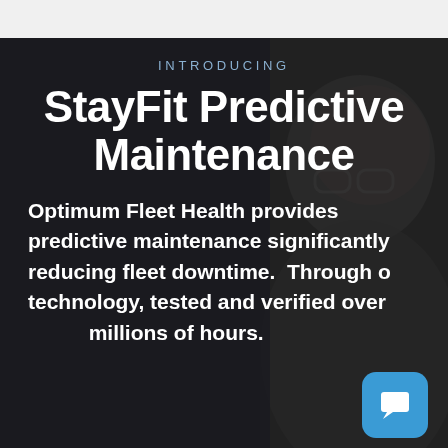[Figure (photo): Dark background with a person wearing glasses smiling, partially visible on the right side of the image. Dark overlay covers most of the scene.]
INTRODUCING
StayFit Predictive Maintenance
Optimum Fleet Health provides predictive maintenance significantly reducing fleet downtime.  Through our technology, tested and verified over millions of hours.